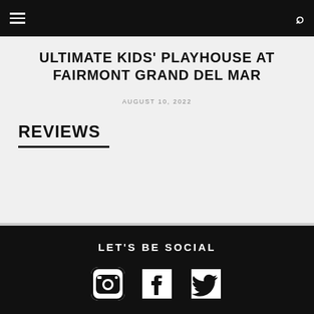ULTIMATE KIDS' PLAYHOUSE AT FAIRMONT GRAND DEL MAR
AUGUST 10, 2022
REVIEWS
LET'S BE SOCIAL
[Figure (illustration): Social media icons: Instagram, Facebook, Twitter in white on black background]